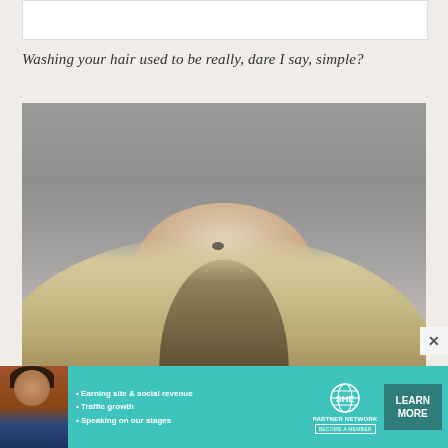[Figure (other): White rectangular box at the top of the page, likely a partially visible image or content block]
Washing your hair used to be really, dare I say, simple?
[Figure (photo): A woman with blonde and dark-streaked hair, photographed from behind/above, with one hand running fingers through her hair, wearing a ring. Grey blurred background.]
[Figure (other): Advertisement banner for SHE Partner Network featuring a woman, bullet points: Earning site & social revenue, Traffic growth, Speaking on our stages. SHE logo with PARTNER NETWORK and BECOME A MEMBER text. LEARN MORE button.]